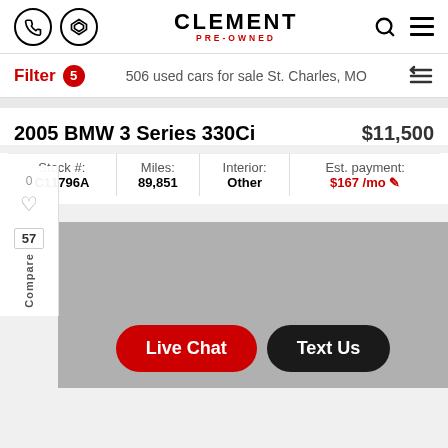CLEMENT PRE-OWNED
Filter 5 — 506 used cars for sale St. Charles, MO
2005 BMW 3 Series 330Ci   $11,500
| Stock #: | Miles: | Interior: | Est. payment: |
| --- | --- | --- | --- |
| C11796A | 89,851 | Other | $167 /mo |
[Figure (photo): Grey placeholder area representing a car image]
Live Chat
Text Us